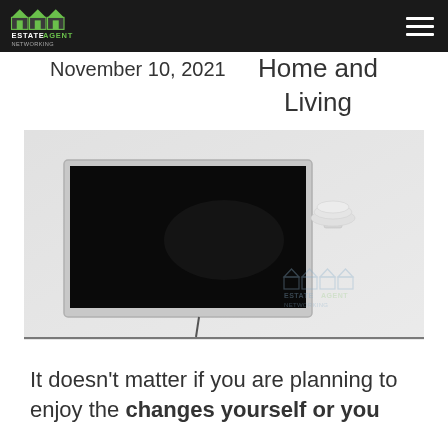Estate Agent Networking — navigation bar with logo and hamburger menu
November 10, 2021
Home and Living
[Figure (photo): A flat-screen TV mounted on a white wall. The TV screen is off/black. A small wall sconce light fixture is visible to the right of the TV. An Estate Agent Networking watermark logo appears at the bottom right of the image.]
It doesn't matter if you are planning to enjoy the changes yourself or you